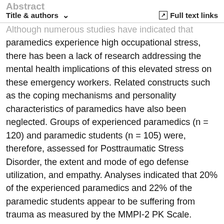Abstract | Title & authors ∨ | Full text links
Although numerous studies have indicated that paramedics experience high occupational stress, there has been a lack of research addressing the mental health implications of this elevated stress on these emergency workers. Related constructs such as the coping mechanisms and personality characteristics of paramedics have also been neglected. Groups of experienced paramedics (n = 120) and paramedic students (n = 105) were, therefore, assessed for Posttraumatic Stress Disorder, the extent and mode of ego defense utilization, and empathy. Analyses indicated that 20% of the experienced paramedics and 22% of the paramedic students appear to be suffering from trauma as measured by the MMPI-2 PK Scale. Denial and Repression scores were significantly high compared to normative samples for both groups, while Regression and Reaction Formation scores were significantly low. Both the paramedics and paramedic students had